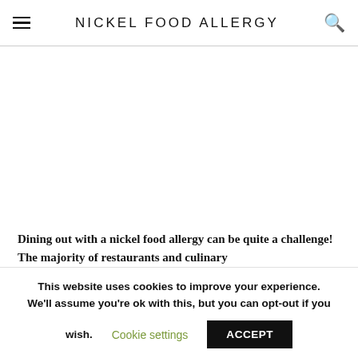NICKEL FOOD ALLERGY
[Figure (photo): Blank/white image placeholder area below the navigation header]
Dining out with a nickel food allergy can be quite a challenge! The majority of restaurants and culinary
This website uses cookies to improve your experience. We'll assume you're ok with this, but you can opt-out if you wish. Cookie settings ACCEPT